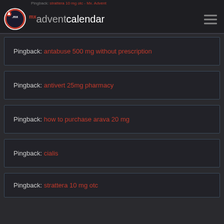mx adventcalendar
Pingback: antabuse 500 mg without prescription
Pingback: antivert 25mg pharmacy
Pingback: how to purchase arava 20 mg
Pingback: cialis
Pingback: strattera 10 mg otc